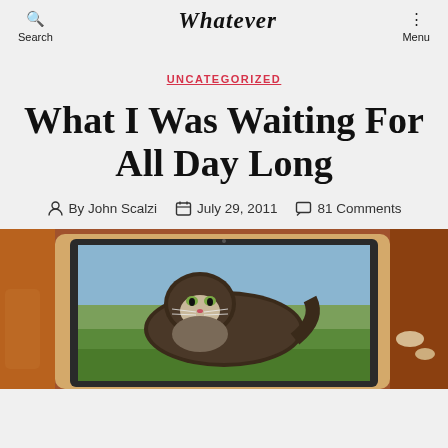Search | Whatever | Menu
UNCATEGORIZED
What I Was Waiting For All Day Long
By John Scalzi  July 29, 2011  81 Comments
[Figure (photo): A laptop computer displaying a photo of a fluffy long-haired cat lying on grass, placed on a wooden table. The surrounding area shows wooden furniture and a warm ambient setting.]